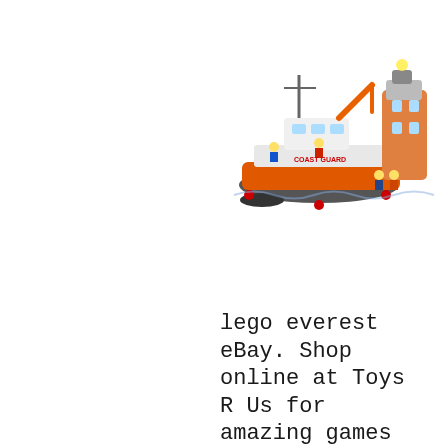[Figure (photo): LEGO City Coast Guard set featuring an orange and grey patrol boat with minifigures and a lighthouse/tower structure]
lego everest eBay. Shop online at Toys R Us for amazing games and toys like the PAW Patrol Tower Block Set! Free Shipping on orders over $49 Free 1 hour in-store pickup, Shop for official Paw Patrol toys, plush, action figures and playsets at